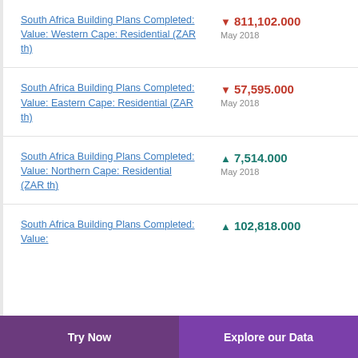South Africa Building Plans Completed: Value: Western Cape: Residential (ZAR th)
South Africa Building Plans Completed: Value: Eastern Cape: Residential (ZAR th)
South Africa Building Plans Completed: Value: Northern Cape: Residential (ZAR th)
South Africa Building Plans Completed: Value:
Try Now    Explore our Data